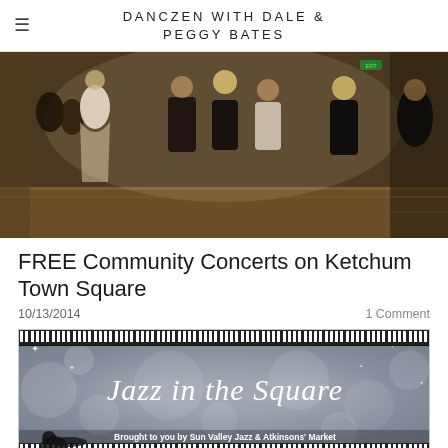DANCZEN WITH DALE & PEGGY BATES
[Figure (photo): People dancing in a ballroom or venue, group of people on a dance floor with wooden flooring]
FREE Community Concerts on Ketchum Town Square
10/13/2014
1 Comment
[Figure (illustration): Jazz in the Square event poster with piano keys border, script text reading 'Jazz in the Square', bokeh light background, and text 'Brought to you by Sun Valley Jazz & Atkinsons' Market']